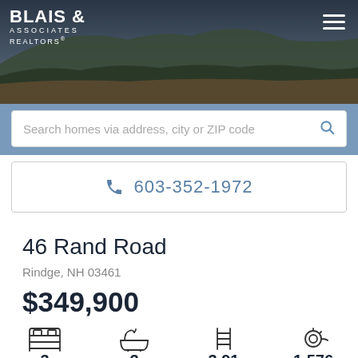[Figure (photo): Hero banner photo showing mountainous landscape with dark sky, trees and rolling hills. Blais & Associates Realtors logo in top left, hamburger menu in top right.]
Search homes via address, city or ZIP code
603-352-1972
46 Rand Road
Rindge, NH 03461
$349,900
3 Bedrooms
2 Baths
3.91 Acres
1,576 Sq Ft